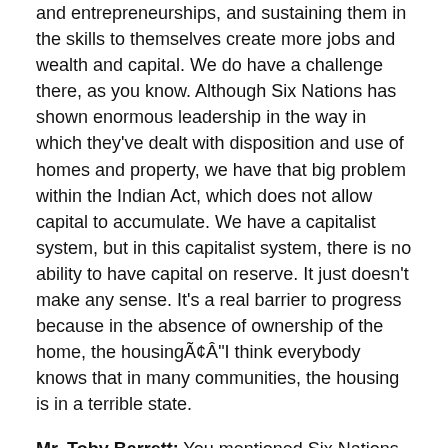assistance to individuals in creating their own businesses and entrepreneurships, and sustaining them in the skills to themselves create more jobs and wealth and capital. We do have a challenge there, as you know. Although Six Nations has shown enormous leadership in the way in which they've dealt with disposition and use of homes and property, we have that big problem within the Indian Act, which does not allow capital to accumulate. We have a capitalist system, but in this capitalist system, there is no ability to have capital on reserve. It just doesn't make any sense. It's a real barrier to progress because in the absence of ownership of the home, the housingÃ¢ÂÂ"I think everybody knows that in many communities, the housing is in a terrible state.
Mr. Toby Barrett: You mentioned Six Nations. That land is crown land. That's notÃ¢ÂÂ"
Hon. Michael Bryant: When I made reference to the innovation and the leadershipÃ¢ÂÂ"Six Nations wanted to work with local contractors and allow for development in...